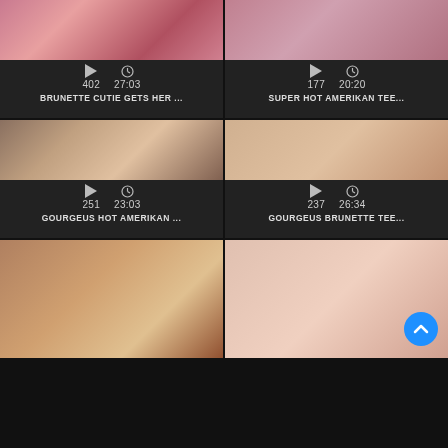[Figure (screenshot): Video thumbnail 1 - top left, pink/red tones]
▷ 402   🕐 27:03
BRUNETTE CUTIE GETS HER ...
[Figure (screenshot): Video thumbnail 2 - top right, pink/mauve tones]
▷ 177   🕐 20:20
SUPER HOT AMERIKAN TEE...
[Figure (screenshot): Video thumbnail 3 - middle left, indoor scene]
▷ 251   🕐 23:03
GOURGEUS HOT AMERIKAN ...
[Figure (screenshot): Video thumbnail 4 - middle right, bedroom scene]
▷ 237   🕐 26:34
GOURGEUS BRUNETTE TEE...
[Figure (screenshot): Video thumbnail 5 - bottom left, living room scene]
[Figure (screenshot): Video thumbnail 6 - bottom right, close-up, with scroll-to-top button]